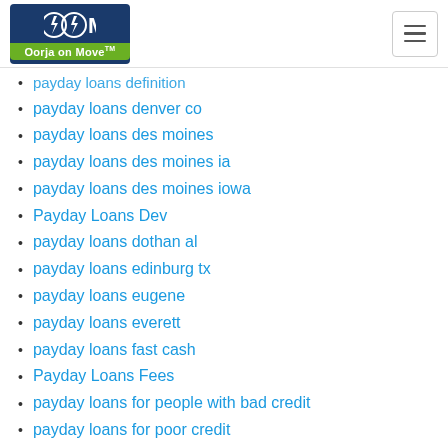[Figure (logo): Oorja on Move logo with lightning bolt icons on dark blue background and green banner]
payday loans definition
payday loans denver co
payday loans des moines
payday loans des moines ia
payday loans des moines iowa
Payday Loans Dev
payday loans dothan al
payday loans edinburg tx
payday loans eugene
payday loans everett
payday loans fast cash
Payday Loans Fees
payday loans for people with bad credit
payday loans for poor credit
payday loans fresno ca
payday loans ga